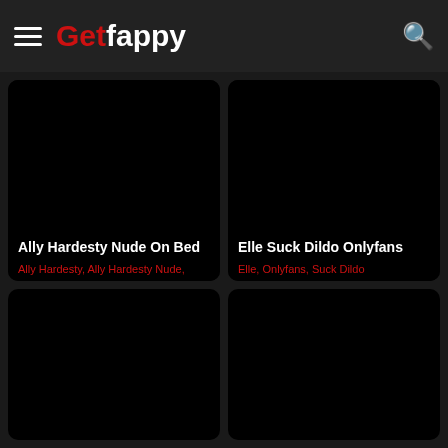Getfappy
[Figure (screenshot): Ally Hardesty Nude On Bed - black thumbnail card with title and tags: Ally Hardesty, Ally Hardesty Nude,]
[Figure (screenshot): Elle Suck Dildo Onlyfans - black thumbnail card with title and tags: Elle, Onlyfans, Suck Dildo]
[Figure (screenshot): Fourth card - black thumbnail, no visible text]
[Figure (screenshot): Fifth card - black thumbnail, no visible text]